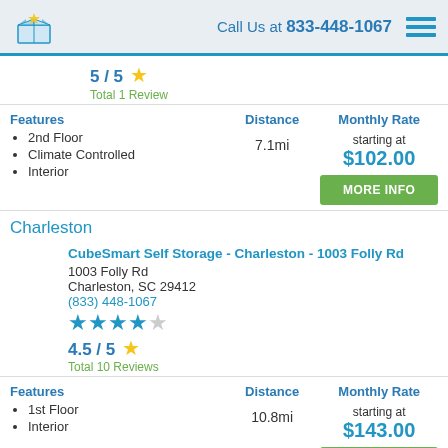Call Us at 833-448-1067
5 / 5 ★ Total 1 Review
Features: 2nd Floor, Climate Controlled, Interior | Distance: 7.1mi | Monthly Rate: starting at $102.00
Charleston
CubeSmart Self Storage - Charleston - 1003 Folly Rd
1003 Folly Rd
Charleston, SC 29412
(833) 448-1067
4.5 / 5 ★ Total 10 Reviews
Features: 1st Floor, Interior | Distance: 10.8mi | Monthly Rate: starting at $143.00